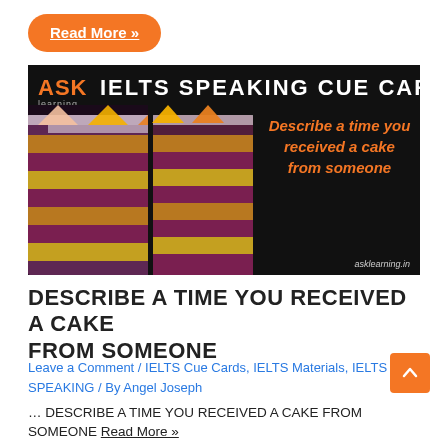Read More »
[Figure (photo): Banner image for IELTS Speaking Cue Card: 'Describe a time you received a cake from someone'. Shows colorful layered cake slices decorated with star-shaped sprinkles on a dark background. Text reads: ASK learning | IELTS SPEAKING CUE CARD | Describe a time you received a cake from someone | asklearning.in]
DESCRIBE A TIME YOU RECEIVED A CAKE FROM SOMEONE
Leave a Comment / IELTS Cue Cards, IELTS Materials, IELTS SPEAKING / By Angel Joseph
… DESCRIBE A TIME YOU RECEIVED A CAKE FROM SOMEONE Read More »